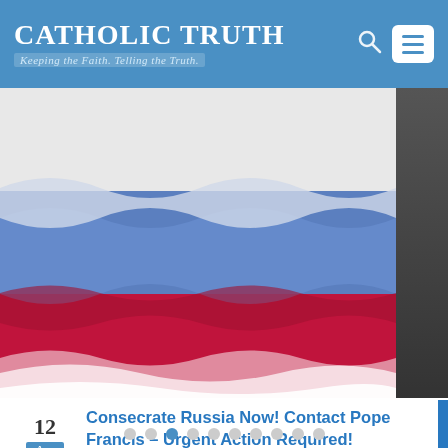Catholic Truth – Keeping the Faith. Telling the Truth.
[Figure (photo): Waving Russian flag with white, blue, and red horizontal stripes, photographed close-up with wavy motion effect]
12
Apr
Consecrate Russia Now! Contact Pope Francis – Urgent Action Required!
Updated | Claiming that some Americans are preparing for a coming...
read more ❯